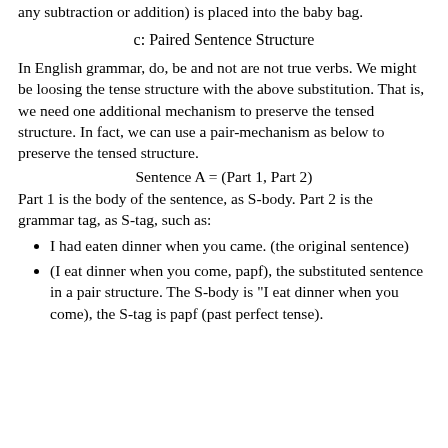any subtraction or addition) is placed into the baby bag.
c: Paired Sentence Structure
In English grammar, do, be and not are not true verbs. We might be loosing the tense structure with the above substitution. That is, we need one additional mechanism to preserve the tensed structure. In fact, we can use a pair-mechanism as below to preserve the tensed structure.
Part 1 is the body of the sentence, as S-body. Part 2 is the grammar tag, as S-tag, such as:
I had eaten dinner when you came. (the original sentence)
(I eat dinner when you come, papf), the substituted sentence in a pair structure. The S-body is "I eat dinner when you come), the S-tag is papf (past perfect tense).